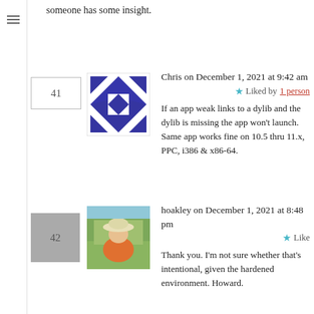someone has some insight.
41
Chris on December 1, 2021 at 9:42 am
Liked by 1 person
If an app weak links to a dylib and the dylib is missing the app won't launch. Same app works fine on 10.5 thru 11.x, PPC, i386 & x86-64.
42
hoakley on December 1, 2021 at 8:48 pm
Like
Thank you. I'm not sure whether that's intentional, given the hardened environment. Howard.